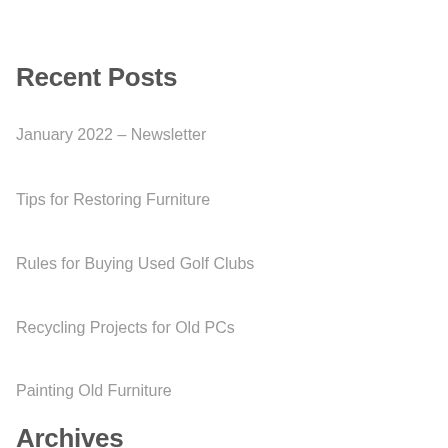Recent Posts
January 2022 – Newsletter
Tips for Restoring Furniture
Rules for Buying Used Golf Clubs
Recycling Projects for Old PCs
Painting Old Furniture
Archives